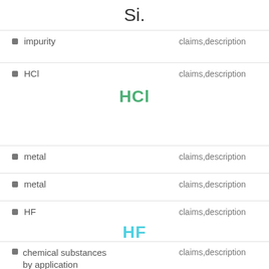Si.
impurity — claims,description
HCl — claims,description
[Figure (other): Large green text displaying chemical formula HCl]
metal — claims,description
metal — claims,description
HF — claims,description
[Figure (other): Large cyan text displaying chemical formula HF]
chemical substances by application — claims,description